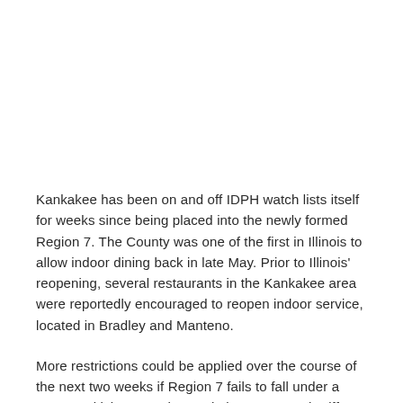Kankakee has been on and off IDPH watch lists itself for weeks since being placed into the newly formed Region 7.  The County was one of the first in Illinois to allow indoor dining back in late May.  Prior to Illinois' reopening, several restaurants in the Kankakee area were reportedly encouraged to reopen indoor service, located in Bradley and Manteno.
More restrictions could be applied over the course of the next two weeks if Region 7 fails to fall under a 6.5% positivity rate.  The Kankakee County Sheriff Department has yet to comment on today's news.